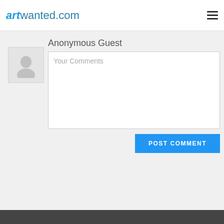Post a New Image Comment
artwanted.com
Anonymous Guest
[Figure (illustration): Anonymous user avatar placeholder — grey silhouette of a person on light grey background]
Your Comments
POST COMMENT